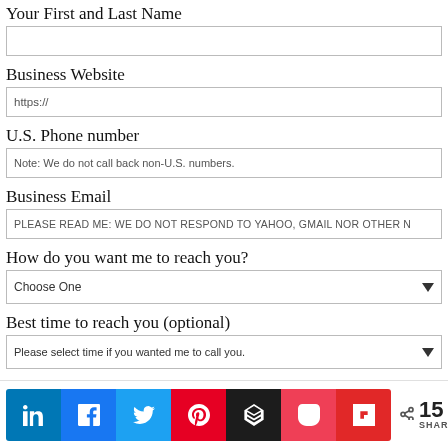Your First and Last Name
Business Website
https://
U.S. Phone number
Note: We do not call back non-U.S. numbers.
Business Email
PLEASE READ ME: WE DO NOT RESPOND TO YAHOO, GMAIL NOR OTHER N
How do you want me to reach you?
Choose One
Best time to reach you (optional)
Please select time if you wanted me to call you.
[Figure (infographic): Social sharing bar with LinkedIn, Facebook, Twitter, Pinterest, Buffer, Pocket, Flipboard buttons and a share count of 15 SHARES]